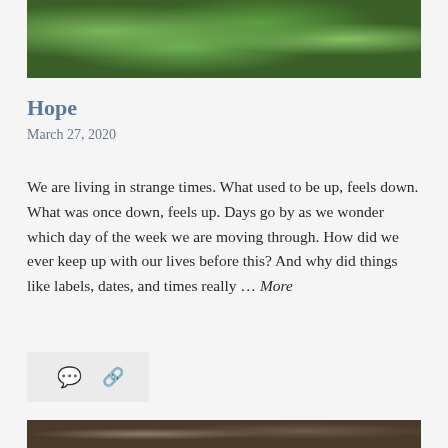[Figure (photo): Close-up photo of green leaves and plant branches against a dark background, showing lush foliage with various shades of green]
Hope
March 27, 2020
We are living in strange times. What used to be up, feels down. What was once down, feels up. Days go by as we wonder which day of the week we are moving through. How did we ever keep up with our lives before this? And why did things like labels, dates, and times really … More
[Figure (photo): Partial view of another nature photo showing ground/earth tones at the bottom of the page]